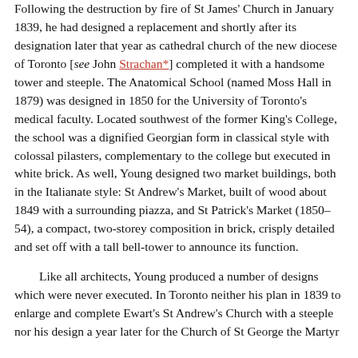Following the destruction by fire of St James' Church in January 1839, he had designed a replacement and shortly after its designation later that year as cathedral church of the new diocese of Toronto [see John Strachan*] completed it with a handsome tower and steeple. The Anatomical School (named Moss Hall in 1879) was designed in 1850 for the University of Toronto's medical faculty. Located southwest of the former King's College, the school was a dignified Georgian form in classical style with colossal pilasters, complementary to the college but executed in white brick. As well, Young designed two market buildings, both in the Italianate style: St Andrew's Market, built of wood about 1849 with a surrounding piazza, and St Patrick's Market (1850–54), a compact, two-storey composition in brick, crisply detailed and set off with a tall bell-tower to announce its function.
Like all architects, Young produced a number of designs which were never executed. In Toronto neither his plan in 1839 to enlarge and complete Ewart's St Andrew's Church with a steeple nor his design a year later for the Church of St George the Martyr